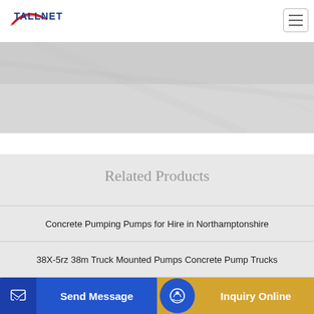TALLNET logo and navigation header
[Figure (photo): Hero/banner image area with textured gray background]
Related Products
Concrete Pumping Pumps for Hire in Northamptonshire
38X-5rz 38m Truck Mounted Pumps Concrete Pump Trucks
LNT CONCRETE PUMPING SERVICES
SCHWING BP stationary concrete pumps for rent
Send Message
Inquiry Online